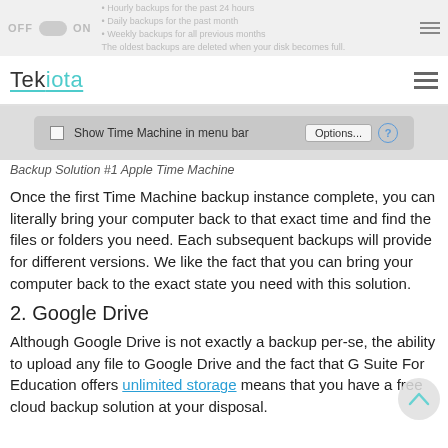[Figure (screenshot): Partial view of a macOS or website UI showing OFF/ON toggle and menu icon, with bullet points about hourly/daily/weekly backups]
Tekiota
[Figure (screenshot): macOS Time Machine preferences panel showing 'Show Time Machine in menu bar' checkbox, Options... button, and a ? help button]
Backup Solution #1 Apple Time Machine
Once the first Time Machine backup instance complete, you can literally bring your computer back to that exact time and find the files or folders you need. Each subsequent backups will provide for different versions. We like the fact that you can bring your computer back to the exact state you need with this solution.
2. Google Drive
Although Google Drive is not exactly a backup per-se, the ability to upload any file to Google Drive and the fact that G Suite For Education offers unlimited storage means that you have a free cloud backup solution at your disposal.